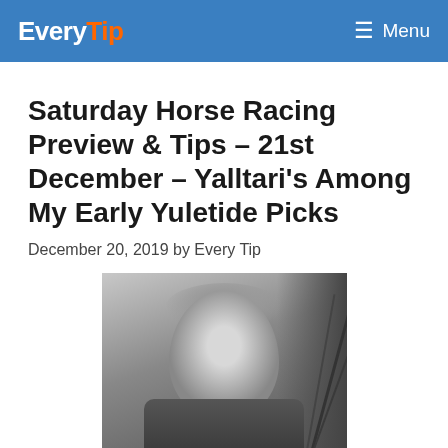EveryTip  Menu
Saturday Horse Racing Preview & Tips – 21st December – Yalltari's Among My Early Yuletide Picks
December 20, 2019 by Every Tip
[Figure (photo): Black and white photo of a smiling person, appearing to be outdoors or at an event, with dark lines/harness equipment visible in the background]